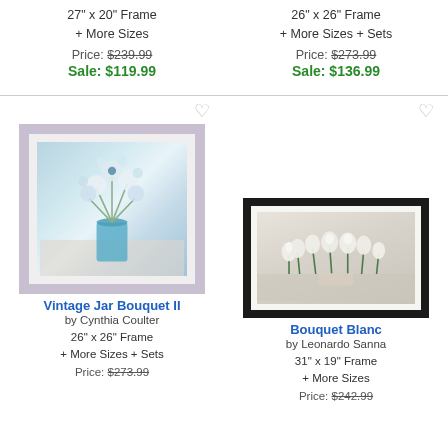27" x 20" Frame
+ More Sizes
Price: $239.99
Sale: $119.99
26" x 26" Frame
+ More Sizes + Sets
Price: $273.99
Sale: $136.99
[Figure (photo): Framed artwork showing white flowers in a blue glass jar, light purple/gray frame with white mat]
Vintage Jar Bouquet II
by Cynthia Coulter
26" x 26" Frame
+ More Sizes + Sets
Price: $273.99
[Figure (photo): Framed artwork showing white tulips in a vase, black frame with white mat]
Bouquet Blanc
by Leonardo Sanna
31" x 19" Frame
+ More Sizes
Price: $242.99